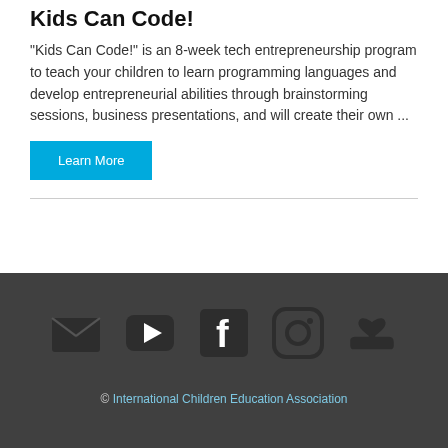Kids Can Code!
"Kids Can Code!" is an 8-week tech entrepreneurship program to teach your children to learn programming languages and develop entrepreneurial abilities through brainstorming sessions, business presentations, and will create their own ...
Learn More
[Figure (infographic): Social media icons row: email envelope, YouTube play button, Facebook F, Instagram camera, donate heart-in-hand]
© International Children Education Association